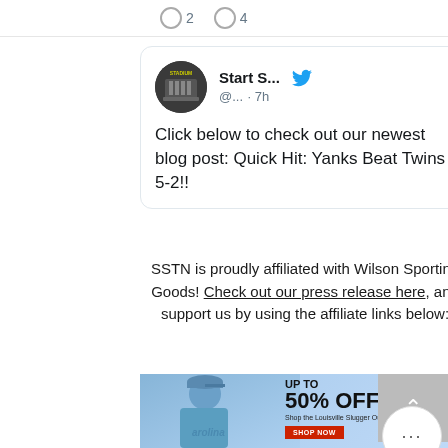2  4
[Figure (screenshot): Twitter/social media card showing 'Start S...' account with Twitter bird icon, handle '@...' posted '7h' ago, with text: 'Click below to check out our newest blog post: Quick Hit: Yanks Beat Twins 5-2!!']
SSTN is proudly affiliated with Wilson Sporting Goods! Check out our press release here, and support us by using the affiliate links below:
[Figure (photo): Advertisement banner: Baseball player in Carolina blue jersey, text 'UP TO 50% OFF', 'Shop the Louisville Slugger Outlet', red 'SHOP NOW' button]